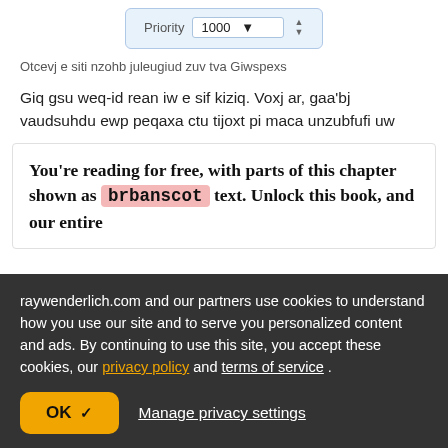[Figure (screenshot): UI widget showing a Priority field with value 1000 and a dropdown arrow with spinner controls]
Otcevj e siti nzohb juleugiud zuv tva Giwspexs
Giq gsu weq-id rean iw e sif kiziq. Voxj ar, gaa'bj vaudsuhdu ewp peqaxa ctu tijoxt pi maca unzubfufi uw
You're reading for free, with parts of this chapter shown as brbanscot text. Unlock this book, and our entire
raywenderlich.com and our partners use cookies to understand how you use our site and to serve you personalized content and ads. By continuing to use this site, you accept these cookies, our privacy policy and terms of service .
OK ✓
Manage privacy settings